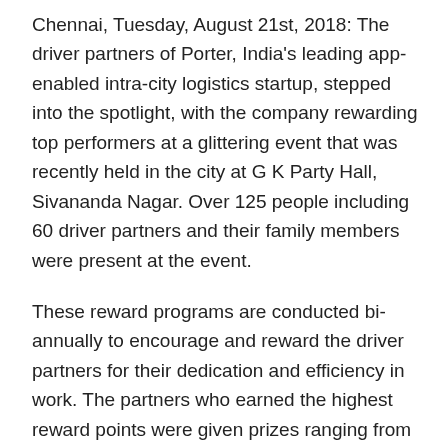Chennai, Tuesday, August 21st, 2018: The driver partners of Porter, India's leading app-enabled intra-city logistics startup, stepped into the spotlight, with the company rewarding top performers at a glittering event that was recently held in the city at G K Party Hall, Sivananda Nagar. Over 125 people including 60 driver partners and their family members were present at the event.
These reward programs are conducted bi-annually to encourage and reward the driver partners for their dedication and efficiency in work. The partners who earned the highest reward points were given prizes ranging from home appliances to Gold coins and the top performer went home with the bumper prize of a Yamaha Activa.